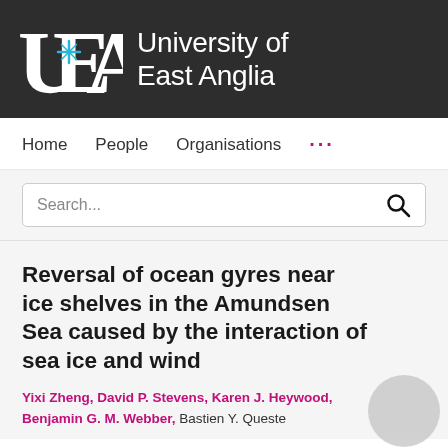[Figure (logo): University of East Anglia (UEA) logo with white letter forms U, E, A and a cyan star/cross, on a dark grey background, with 'University of East Anglia' text in white to the right]
Home   People   Organisations   ...
Search...
Reversal of ocean gyres near ice shelves in the Amundsen Sea caused by the interaction of sea ice and wind
Yixi Zheng, David P. Stevens, Karen J. Heywood, Benjamin G. M. Webber, Bastien Y. Queste